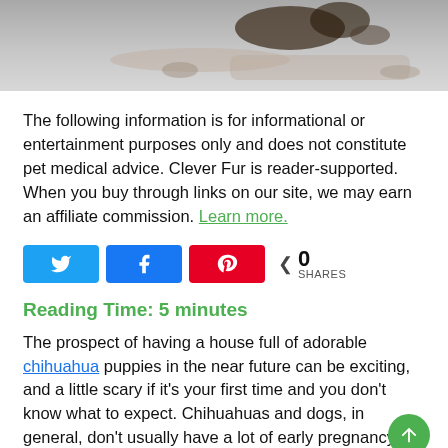[Figure (photo): Photo of a dog or chihuahua lying on a grey/neutral background, partial view showing fur and paws]
The following information is for informational or entertainment purposes only and does not constitute pet medical advice. Clever Fur is reader-supported. When you buy through links on our site, we may earn an affiliate commission. Learn more.
[Figure (infographic): Social share buttons: Twitter (blue), Facebook (blue), Pinterest (red), and a share count showing 0 SHARES]
Reading Time: 5 minutes
The prospect of having a house full of adorable chihuahua puppies in the near future can be exciting, and a little scary if it's your first time and you don't know what to expect. Chihuahuas and dogs, in general, don't usually have a lot of early pregnancy signs so, in the midst of